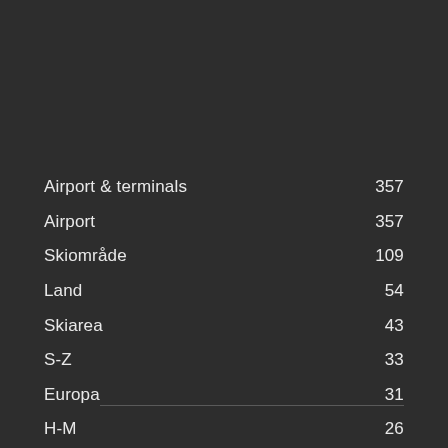Airport & terminals  357
Airport  357
Skiområde  109
Land  54
Skiarea  43
S-Z  33
Europa  31
H-M  26
D-G  23